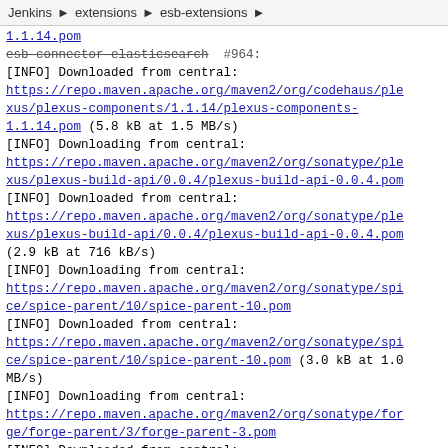Jenkins › extensions › esb-extensions ›
[INFO] Downloaded from central: https://repo.maven.apache.org/maven2/org/codehaus/plexus/plexus-components/1.1.14/plexus-components-1.1.14.pom (5.8 kB at 1.5 MB/s)
[INFO] Downloading from central: https://repo.maven.apache.org/maven2/org/sonatype/plexus/plexus-build-api/0.0.4/plexus-build-api-0.0.4.pom
[INFO] Downloaded from central: https://repo.maven.apache.org/maven2/org/sonatype/plexus/plexus-build-api/0.0.4/plexus-build-api-0.0.4.pom (2.9 kB at 716 kB/s)
[INFO] Downloading from central: https://repo.maven.apache.org/maven2/org/sonatype/spice/spice-parent/10/spice-parent-10.pom
[INFO] Downloaded from central: https://repo.maven.apache.org/maven2/org/sonatype/spice/spice-parent/10/spice-parent-10.pom (3.0 kB at 1.0 MB/s)
[INFO] Downloading from central: https://repo.maven.apache.org/maven2/org/sonatype/forge/forge-parent/3/forge-parent-3.pom
[INFO] Downloaded from central: https://repo.maven.apache.org/maven2/org/sonatype/for